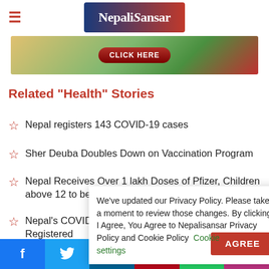Nepali Sansar
[Figure (screenshot): Ad banner with Click Here button]
Related "Health" Stories
Nepal registers 143 COVID-19 cases
Sher Deuba Doubles Down on Vaccination Program
Nepal Receives Over 1 lakh Doses of Pfizer, Children above 12 to be...
Nepal's COVID... Registered
Nepal Suffers...
We've updated our Privacy Policy. Please take a moment to review those changes. By clicking I Agree, You Agree to Nepalisansar Privacy Policy and Cookie Policy Cookie settings AGREE
Facebook Twitter LinkedIn Pinterest WhatsApp Instagram